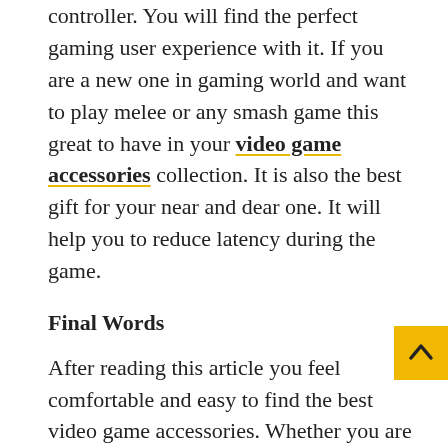controller. You will find the perfect gaming user experience with it. If you are a new one in gaming world and want to play melee or any smash game this great to have in your video game accessories collection. It is also the best gift for your near and dear one. It will help you to reduce latency during the game.
Final Words
After reading this article you feel comfortable and easy to find the best video game accessories. Whether you are a new or an earlier user there all these video game accessories are essential for your gaming experience. If you want to purchase these cool accessories you should visit our Ecourse